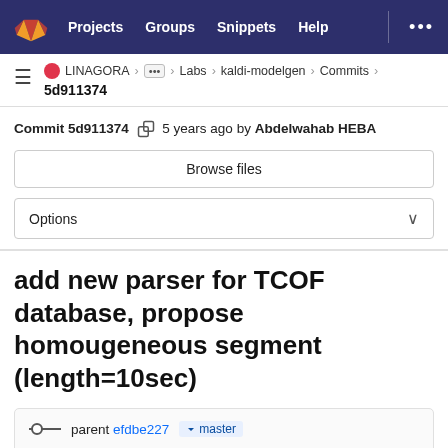Projects  Groups  Snippets  Help  ...
LINAGORA > ... > Labs > kaldi-modelgen > Commits > 5d911374
Commit 5d911374  5 years ago by Abdelwahab HEBA
Browse files
Options
add new parser for TCOF database, propose homougeneous segment (length=10sec)
parent efdbe227  master
No related merge requests found